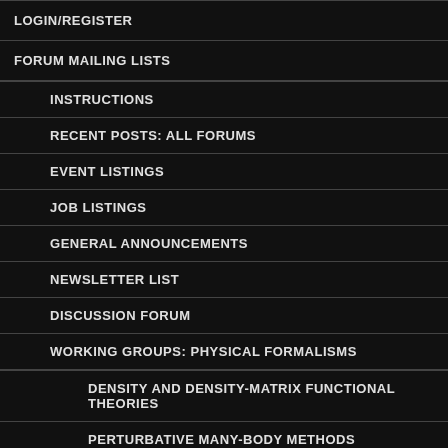LOGIN/REGISTER
FORUM MAILING LISTS
INSTRUCTIONS
RECENT POSTS: ALL FORUMS
EVENT LISTINGS
JOB LISTINGS
GENERAL ANNOUNCEMENTS
NEWSLETTER LIST
DISCUSSION FORUM
WORKING GROUPS: PHYSICAL FORMALISMS
DENSITY AND DENSITY-MATRIX FUNCTIONAL THEORIES
PERTURBATIVE MANY-BODY METHODS
NON-PERTURBATIVE MANY-BODY METHODS